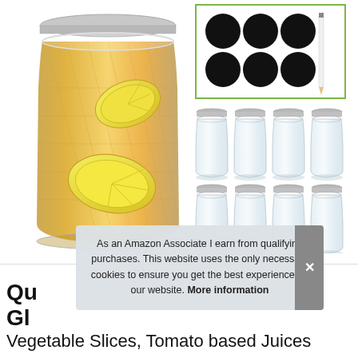[Figure (photo): Product photo showing a large glass mason jar with quilted diamond pattern filled with iced tea and lemon slices, silver lid on top. Right side shows: green-bordered card with black circular chalkboard labels and white chalk pencil, and two rows of four empty quilted glass jars with silver lids.]
As an Amazon Associate I earn from qualifying purchases. This website uses the only necessary cookies to ensure you get the best experience on our website. More information
Qu Gl Vegetable Slices, Tomato based Juices